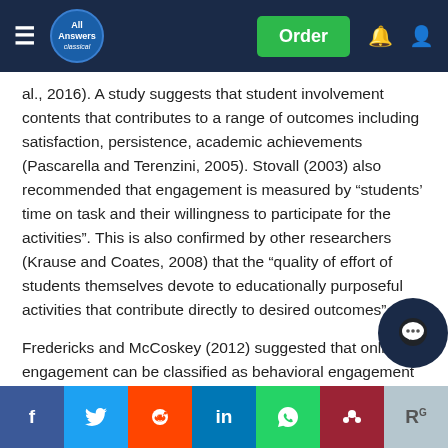All Answers Classical — Order
al., 2016). A study suggests that student involvement contents that contributes to a range of outcomes including satisfaction, persistence, academic achievements (Pascarella and Terenzini, 2005). Stovall (2003) also recommended that engagement is measured by “students’ time on task and their willingness to participate for the activities”. This is also confirmed by other researchers (Krause and Coates, 2008) that the “quality of effort of students themselves devote to educationally purposeful activities that contribute directly to desired outcomes”.
Fredericks and McCoskey (2012) suggested that online engagement can be classified as behavioral engagement that students’ participation in online learning activities includes behavior rules, engaging virtual classroom as required. Social media studies suggest that online engagement of both positive and negative values are
Facebook Twitter Reddit LinkedIn WhatsApp Mendeley ResearchGate